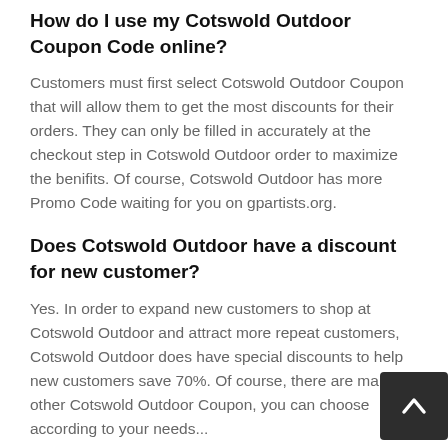How do I use my Cotswold Outdoor Coupon Code online?
Customers must first select Cotswold Outdoor Coupon that will allow them to get the most discounts for their orders. They can only be filled in accurately at the checkout step in Cotswold Outdoor order to maximize the benifits. Of course, Cotswold Outdoor has more Promo Code waiting for you on gpartists.org.
Does Cotswold Outdoor have a discount for new customer?
Yes. In order to expand new customers to shop at Cotswold Outdoor and attract more repeat customers, Cotswold Outdoor does have special discounts to help new customers save 70%. Of course, there are many other Cotswold Outdoor Coupon, you can choose according to your needs...